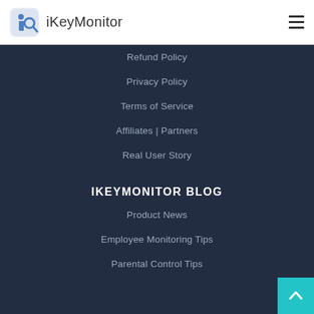iKeyMonitor
Refund Policy
Privacy Policy
Terms of Service
Affiliates | Partners
Real User Story
IKEYMONITOR BLOG
Product News
Employee Monitoring Tips
Parental Control Tips